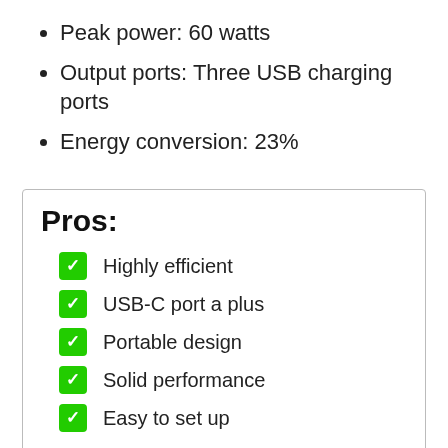Peak power: 60 watts
Output ports: Three USB charging ports
Energy conversion: 23%
Pros:
Highly efficient
USB-C port a plus
Portable design
Solid performance
Easy to set up